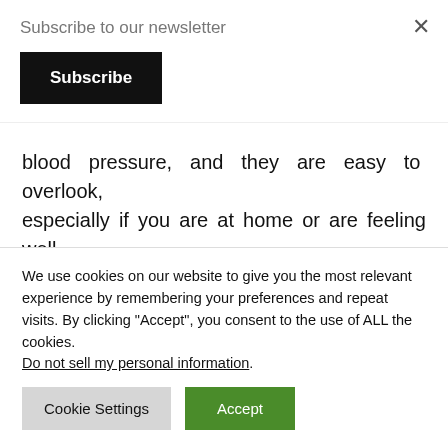Subscribe to our newsletter
Subscribe
blood pressure, and they are easy to overlook, especially if you are at home or are feeling well.
Of course, you should never ignore a hypertension symptom if you feel one coming on, but you should also
We use cookies on our website to give you the most relevant experience by remembering your preferences and repeat visits. By clicking "Accept", you consent to the use of ALL the cookies. Do not sell my personal information.
Cookie Settings
Accept